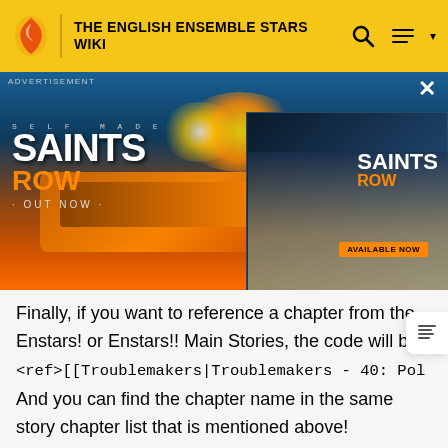THE ENGLISH ENSEMBLE STARS WIKI
[Figure (photo): Saints Row video game advertisement banner showing action scene with characters. Left side shows 'SELF MADE SAINTS ROW OUT NOW' over explosive action scene. Right side shows character with city backdrop and 'SAINTS ROW AVAILABLE NOW' text.]
Finally, if you want to reference a chapter from the Enstars! or Enstars!! Main Stories, the code will be:
And you can find the chapter name in the same story chapter list that is mentioned above!
The part before the | is the link to the page after /wiki/. For smaller stories such as idol stories, it suffices to link to the character's idol story list; for example, Souma